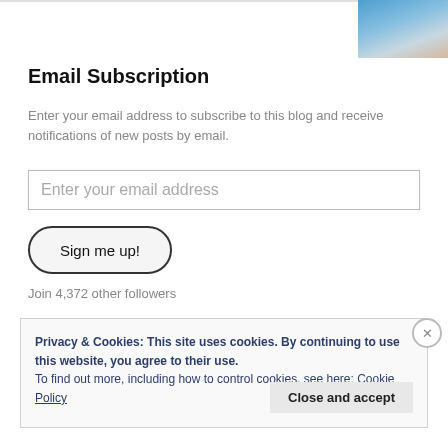[Figure (photo): Partial photo of a person's face against a blue background, visible in top-right corner]
Email Subscription
Enter your email address to subscribe to this blog and receive notifications of new posts by email.
Enter your email address
Sign me up!
Join 4,372 other followers
Privacy & Cookies: This site uses cookies. By continuing to use this website, you agree to their use.
To find out more, including how to control cookies, see here: Cookie Policy
Close and accept